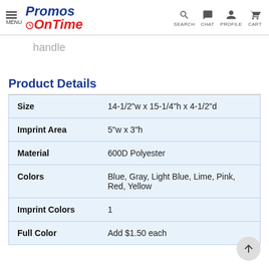Promos OnTime — MENU | SEARCH | CHAT | PROFILE | CART
handle
Product Details
|  |  |
| --- | --- |
| Size | 14-1/2"w x 15-1/4"h x 4-1/2"d |
| Imprint Area | 5"w x 3"h |
| Material | 600D Polyester |
| Colors | Blue, Gray, Light Blue, Lime, Pink, Red, Yellow |
| Imprint Colors | 1 |
| Full Color | Add $1.50 each |